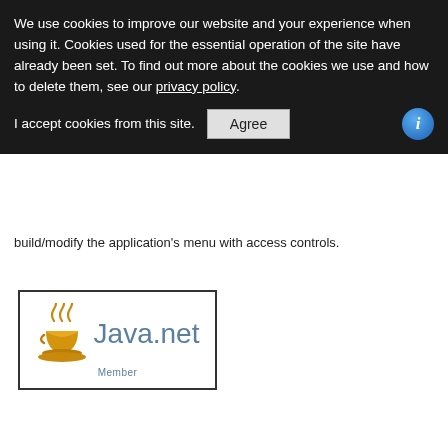We use cookies to improve our website and your experience when using it. Cookies used for the essential operation of the site have already been set. To find out more about the cookies we use and how to delete them, see our privacy policy.
I accept cookies from this site.
build/modify the application's menu with access controls.
[Figure (logo): Java.net Member badge logo with steam/coffee cup icon in gold/orange and blue text reading 'Java.net' with 'Member' below]